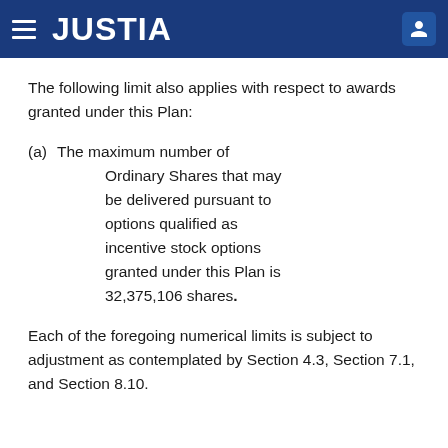JUSTIA
The following limit also applies with respect to awards granted under this Plan:
(a) The maximum number of Ordinary Shares that may be delivered pursuant to options qualified as incentive stock options granted under this Plan is 32,375,106 shares.
Each of the foregoing numerical limits is subject to adjustment as contemplated by Section 4.3, Section 7.1, and Section 8.10.